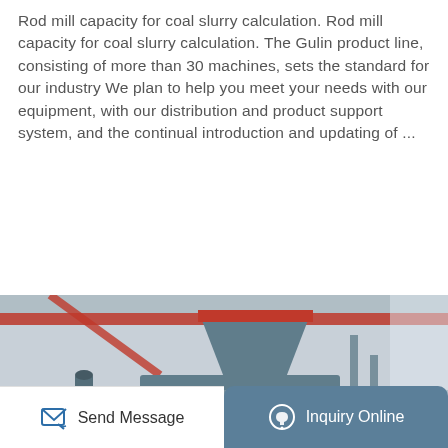Rod mill capacity for coal slurry calculation. Rod mill capacity for coal slurry calculation. The Gulin product line, consisting of more than 30 machines, sets the standard for our industry We plan to help you meet your needs with our equipment, with our distribution and product support system, and the continual introduction and updating of ...
[Figure (screenshot): Orange 'Get Price →' button and a 'TOP' navigation button with upward arrow]
[Figure (photo): Industrial coal briquette press machine (rod mill equipment) in a factory setting with red overhead crane visible]
[Figure (infographic): Bottom navigation bar with 'Send Message' on white background and 'Inquiry Online' on teal/blue-grey background with icons]